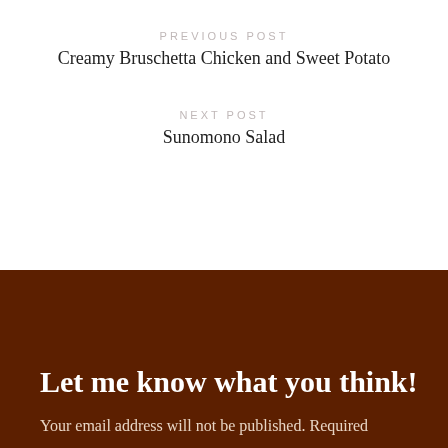PREVIOUS POST
Creamy Bruschetta Chicken and Sweet Potato
NEXT POST
Sunomono Salad
Let me know what you think!
Your email address will not be published. Required